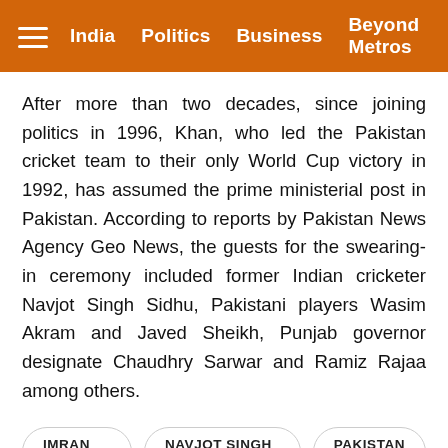India  Politics  Business  Beyond Metros
After more than two decades, since joining politics in 1996, Khan, who led the Pakistan cricket team to their only World Cup victory in 1992, has assumed the prime ministerial post in Pakistan. According to reports by Pakistan News Agency Geo News, the guests for the swearing-in ceremony included former Indian cricketer Navjot Singh Sidhu, Pakistani players Wasim Akram and Javed Sheikh, Punjab governor designate Chaudhry Sarwar and Ramiz Rajaa among others.
IMRAN KHAN
NAVJOT SINGH SIDHU
PAKISTAN
PRIME MINISTER OF PAKISTAN